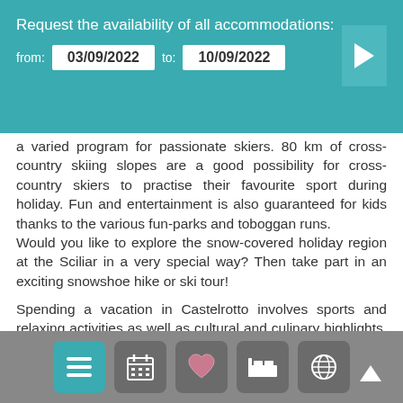Request the availability of all accommodations: from: 03/09/2022 to: 10/09/2022
a varied program for passionate skiers. 80 km of cross-country skiing slopes are a good possibility for cross-country skiers to practise their favourite sport during holiday. Fun and entertainment is also guaranteed for kids thanks to the various fun-parks and toboggan runs.
Would you like to explore the snow-covered holiday region at the Sciliar in a very special way? Then take part in an exciting snowshoe hike or ski tour!
Spending a vacation in Castelrotto involves sports and relaxing activities as well as cultural and culinary highlights, just like the traditional and highly frequented festival of the famous folk music group “Kastelruther Spatzen”, the “Oswald von Wolkenstein” riding tournament and the weekly farmer’s market.
On this portal you will find accommodations, general information, useful addresses and telephone numbers for an enjoyable stay in Castelrotto.
Navigation bar with menu, calendar, favourites, accommodation, map, and up arrow icons